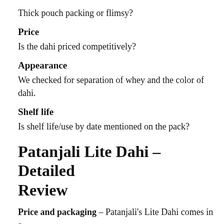Thick pouch packing or flimsy?
Price
Is the dahi priced competitively?
Appearance
We checked for separation of whey and the color of dahi.
Shelf life
Is shelf life/use by date mentioned on the pack?
Patanjali Lite Dahi – Detailed Review
Price and packaging – Patanjali's Lite Dahi comes in a pack... At 200g, the pricing is at Rs 19/-.  The pack...